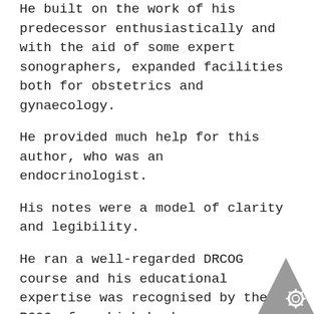He built on the work of his predecessor enthusiastically and with the aid of some expert sonographers, expanded facilities both for obstetrics and gynaecology.
He provided much help for this author, who was an endocrinologist.
His notes were a model of clarity and legibility.
He ran a well-regarded DRCOG course and his educational expertise was recognised by the RCOG, for which he became an examiner.
Tony was a keen sportsman and had a fine pair of shot guns.
He and his wife were generous hosts and after dinner, he sometimes showed these to interested guests.